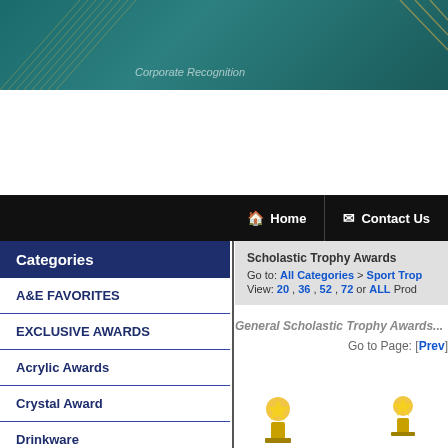[Figure (screenshot): Website header banner with teal/dark teal gradient background and diagonal decorative lines, showing partial text 'Corporate Recognition']
Home | Contact Us
Categories
A&E FAVORITES
EXCLUSIVE AWARDS
Acrylic Awards
Crystal Award
Drinkware
Promotional Items
Scholastic Trophy Awards
Go to: All Categories > Sport Tro...
View: 20 , 36 , 52 , 72 or ALL Prod...
General Scholastic Trophy Awards...
Go to Page: [Prev]
[Figure (photo): Partial view of trophy award products with gold star decorations at bottom of page]